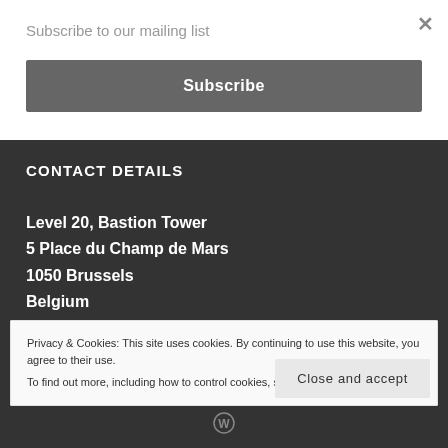Subscribe to our mailing list
Subscribe
CONTACT DETAILS
Level 20, Bastion Tower
5 Place du Champ de Mars
1050 Brussels
Belgium
Privacy & Cookies: This site uses cookies. By continuing to use this website, you agree to their use.
To find out more, including how to control cookies, see here: Cookie Policy
Close and accept